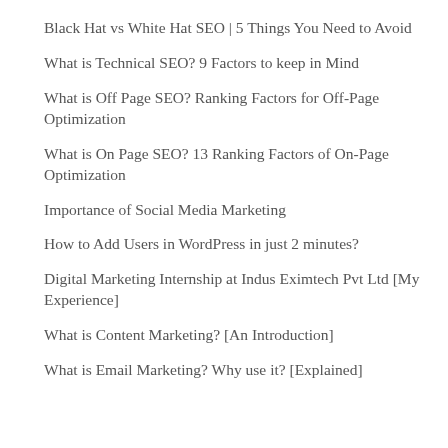Black Hat vs White Hat SEO | 5 Things You Need to Avoid
What is Technical SEO? 9 Factors to keep in Mind
What is Off Page SEO? Ranking Factors for Off-Page Optimization
What is On Page SEO? 13 Ranking Factors of On-Page Optimization
Importance of Social Media Marketing
How to Add Users in WordPress in just 2 minutes?
Digital Marketing Internship at Indus Eximtech Pvt Ltd [My Experience]
What is Content Marketing? [An Introduction]
What is Email Marketing? Why use it? [Explained]